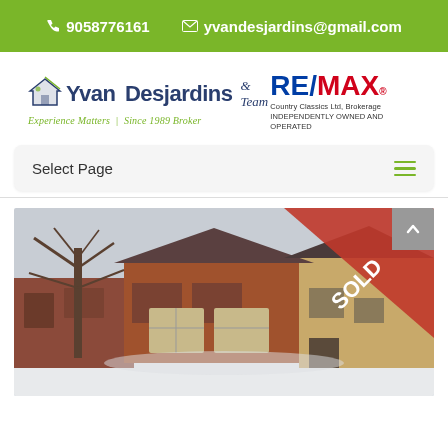9058776161 | yvandesjardins@gmail.com
[Figure (logo): Yvan Desjardins & Team real estate logo with house icon. Tagline: Experience Matters Since 1989 Broker]
[Figure (logo): RE/MAX Country Classics Ltd, Brokerage — Independently Owned and Operated logo]
Select Page
[Figure (photo): Exterior winter photo of residential brick houses with snow on the ground and a bare tree in the foreground. A red SOLD banner is visible in the top-right corner of the photo.]